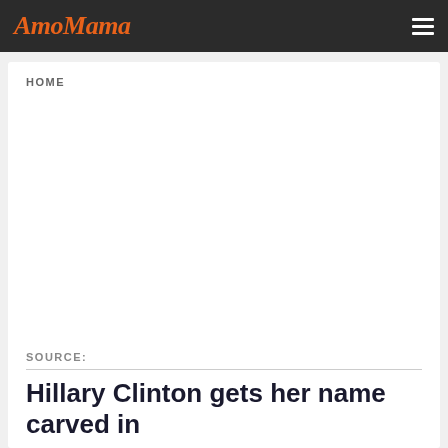AmoMama
HOME
SOURCE:
Hillary Clinton gets her name carved in